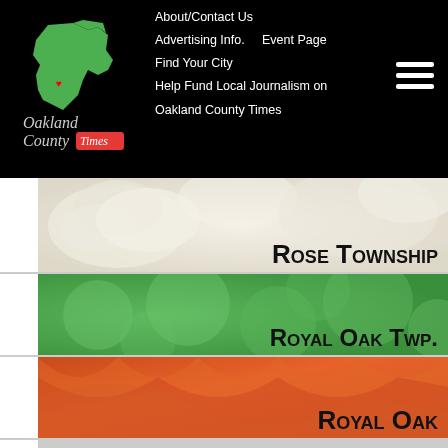Oakland County Times — About/Contact Us | Advertising Info. | Event Page | Find Your City | Help Fund Local Journalism on Oakland County Times
[Figure (illustration): Rose Township banner with white roses background, text 'Rose Township']
[Figure (illustration): Royal Oak Twp. banner with green bokeh background, text 'Royal Oak Twp.']
[Figure (illustration): Royal Oak banner with orange fabric/petal background, text 'Royal Oak']
[Figure (illustration): Southfield banner with grey hex tiles background, text 'Southfield']
[Figure (illustration): Sylvan Lake banner with wooden floor background, text 'Sylvan Lake']